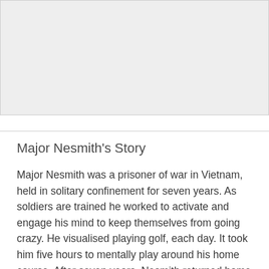[Figure (other): Gray placeholder image area at the top of the page]
Major Nesmith's Story
Major Nesmith was a prisoner of war in Vietnam, held in solitary confinement for seven years. As soldiers are trained he worked to activate and engage his mind to keep themselves from going crazy. He visualised playing golf, each day. It took him five hours to mentally play around his home course. After seven years, Nesmith returned home having not played golf once. Having been used to shooting in the mid 90s,